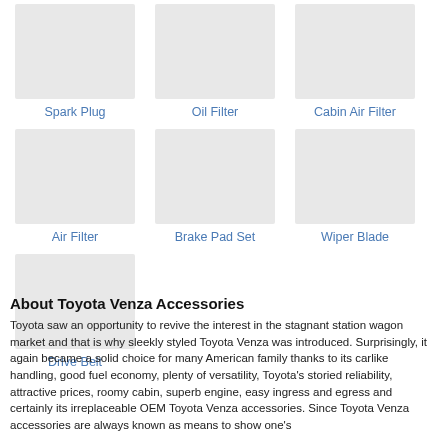[Figure (photo): Spark Plug product image placeholder]
Spark Plug
[Figure (photo): Oil Filter product image placeholder]
Oil Filter
[Figure (photo): Cabin Air Filter product image placeholder]
Cabin Air Filter
[Figure (photo): Air Filter product image placeholder]
Air Filter
[Figure (photo): Brake Pad Set product image placeholder]
Brake Pad Set
[Figure (photo): Wiper Blade product image placeholder]
Wiper Blade
[Figure (photo): Drive Belt product image placeholder]
Drive Belt
About Toyota Venza Accessories
Toyota saw an opportunity to revive the interest in the stagnant station wagon market and that is why sleekly styled Toyota Venza was introduced. Surprisingly, it again became a solid choice for many American family thanks to its carlike handling, good fuel economy, plenty of versatility, Toyota's storied reliability, attractive prices, roomy cabin, superb engine, easy ingress and egress and certainly its irreplaceable OEM Toyota Venza accessories. Since Toyota Venza accessories are always known as means to show one's